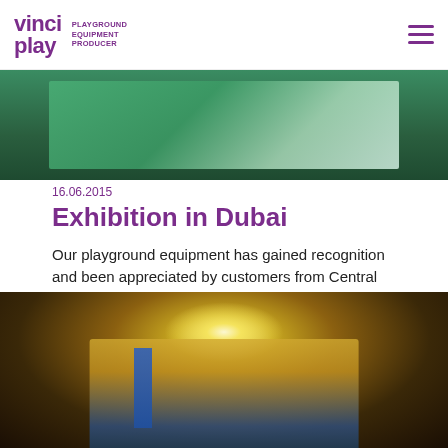vinci play PLAYGROUND EQUIPMENT PRODUCER
[Figure (photo): Top photo showing green background with playground equipment display]
16.06.2015
Exhibition in Dubai
Our playground equipment has gained recognition and been appreciated by customers from Central and Eastern Europe.
[Figure (photo): Indoor exhibition hall photo showing playground equipment display with bright lights and blue banners]